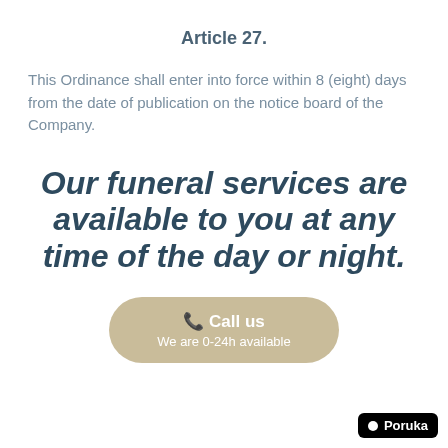Article 27.
This Ordinance shall enter into force within 8 (eight) days from the date of publication on the notice board of the Company.
Our funeral services are available to you at any time of the day or night.
[Figure (infographic): A rounded pill-shaped button in beige/tan color with a phone icon, bold white text 'Call us' and subtitle 'We are 0-24h available']
[Figure (logo): Black rounded rectangle badge with white circle and text 'Poruka']